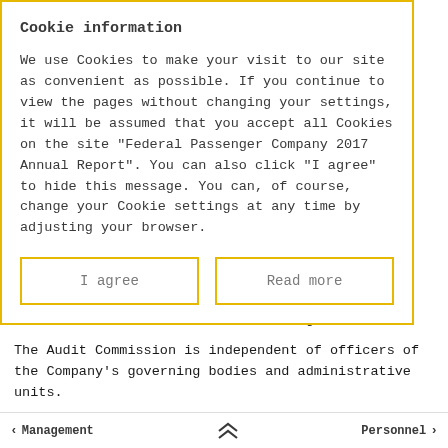Cookie information
We use Cookies to make your visit to our site as convenient as possible. If you continue to view the pages without changing your settings, it will be assumed that you accept all Cookies on the site “Federal Passenger Company 2017 Annual Report”. You can also click “I agree” to hide this message. You can, of course, change your Cookie settings at any time by adjusting your browser.
I agree
Read more
to FPC’s General Shareholders Meeting.
The Audit Commission is independent of officers of the Company’s governing bodies and administrative units.
< Management   ^^ Personnel >